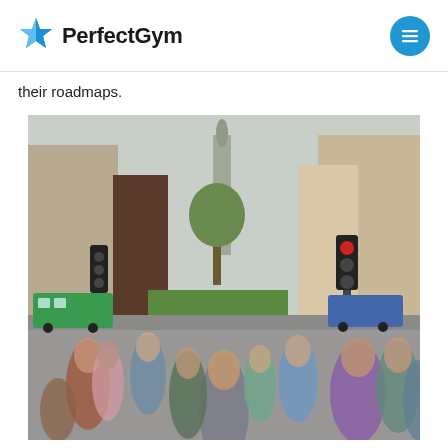PerfectGym
their roadmaps.
[Figure (photo): A busy city street crossing with a crowd of people walking in motion blur, urban buildings, trees, traffic lights, and buses in the background.]